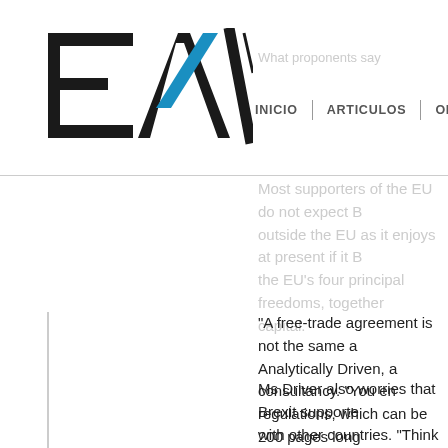INICIO | ARTICULOS | OBSERVAT...
What proponents say
Most supporters of the EU do not expect B... outside the EU as it enjoys at present if it B... the EU's four principal freedoms, together capital.
“A free-trade agreement is not the same a... Analytically Driven, a consultancy. “You en... regulations, which can be 200 pages long... small and medium-sized companies.”
Ms Driver also worries that Brexit supporte... with other countries. “Think how the US is... With a limited number of negotiators, whic...